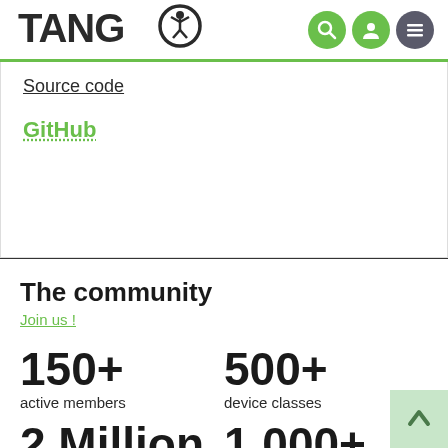TANGO — navigation header with logo and icons
Source code
GitHub
The community
Join us !
150+
active members
500+
device classes
2 Million
1,000+